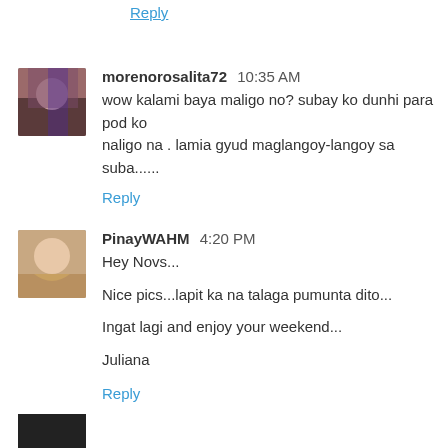Reply
morenorosalita72  10:35 AM
wow kalami baya maligo no? subay ko dunhi para pod ko naligo na . lamia gyud maglangoy-langoy sa suba......
Reply
PinayWAHM  4:20 PM
Hey Novs...

Nice pics...lapit ka na talaga pumunta dito...

Ingat lagi and enjoy your weekend...

Juliana
Reply